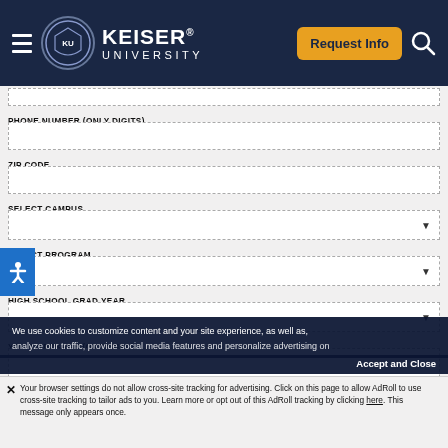Keiser University — Request Info / Navigation Header
PHONE NUMBER (ONLY DIGITS)
ZIP CODE
SELECT CAMPUS
SELECT PROGRAM
HIGH SCHOOL GRAD YEAR
YOUR MESSAGE (OPTIONAL)
We use cookies to customize content and your site experience, as well as, analyze our traffic, provide social media features and personalize advertising on
Accept and Close
Your browser settings do not allow cross-site tracking for advertising. Click on this page to allow AdRoll to use cross-site tracking to tailor ads to you. Learn more or opt out of this AdRoll tracking by clicking here. This message only appears once.